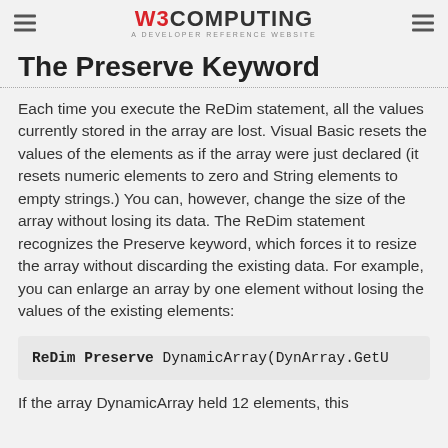W3COMPUTING A DEVELOPER REFERENCE WEBSITE
The Preserve Keyword
Each time you execute the ReDim statement, all the values currently stored in the array are lost. Visual Basic resets the values of the elements as if the array were just declared (it resets numeric elements to zero and String elements to empty strings.) You can, however, change the size of the array without losing its data. The ReDim statement recognizes the Preserve keyword, which forces it to resize the array without discarding the existing data. For example, you can enlarge an array by one element without losing the values of the existing elements:
ReDim Preserve DynamicArray(DynArray.GetU
If the array DynamicArray held 12 elements, this